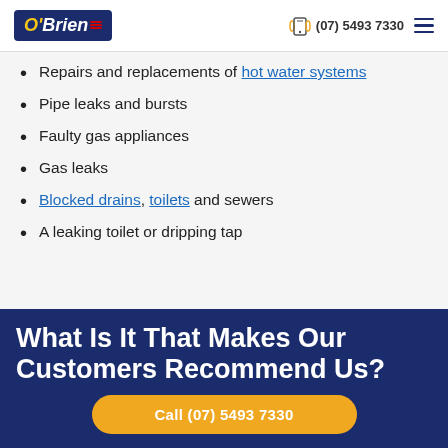O'Brien | (07) 5493 7330
Repairs and replacements of hot water systems
Pipe leaks and bursts
Faulty gas appliances
Gas leaks
Blocked drains, toilets and sewers
A leaking toilet or dripping tap
What Is It That Makes Our Customers Recommend Us?
Call (07) 5493 7330